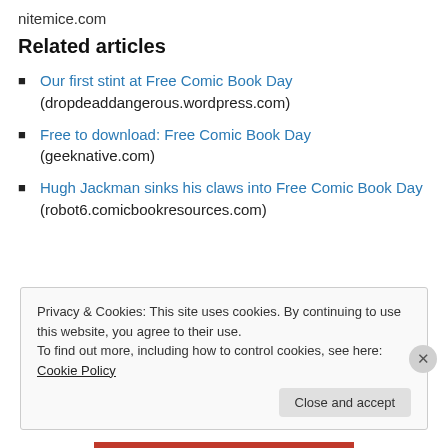nitemice.com
Related articles
Our first stint at Free Comic Book Day (dropdeaddangerous.wordpress.com)
Free to download: Free Comic Book Day (geeknative.com)
Hugh Jackman sinks his claws into Free Comic Book Day (robot6.comicbookresources.com)
Privacy & Cookies: This site uses cookies. By continuing to use this website, you agree to their use. To find out more, including how to control cookies, see here: Cookie Policy
Close and accept